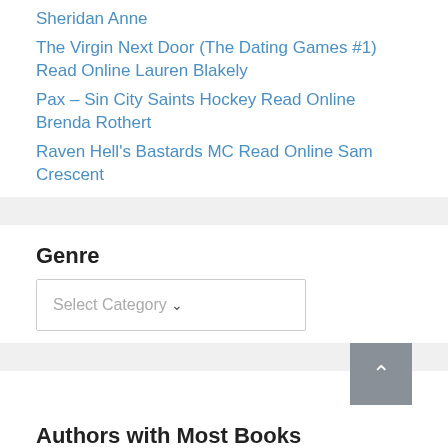Sheridan Anne
The Virgin Next Door (The Dating Games #1) Read Online Lauren Blakely
Pax – Sin City Saints Hockey Read Online Brenda Rothert
Raven Hell's Bastards MC Read Online Sam Crescent
Genre
Select Category
Authors with Most Books
Alexa Riley (185) Aurora Rose Reynolds (33) B.B. Hamel (25) C.M. Steele (44) Cassandra Dee (55) Cassandra...